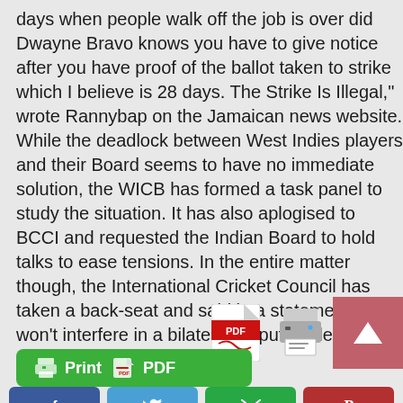days when people walk off the job is over did Dwayne Bravo knows you have to give notice after you have proof of the ballot taken to strike which I believe is 28 days. The Strike Is Illegal," wrote Rannybap on the Jamaican news website.
While the deadlock between West Indies players and their Board seems to have no immediate solution, the WICB has formed a task panel to study the situation. It has also aplogised to BCCI and requested the Indian Board to hold talks to ease tensions. In the entire matter though, the International Cricket Council has taken a back-seat and said in a statement that it won't interfere in a bilateral dispute unless the matter is referred to it.
[Figure (other): PDF icon, printer icon, and pink/red arrow-up scroll button arranged in a row on the right side]
[Figure (other): Green button with printer and PDF icons labeled Print and PDF]
[Figure (other): Social sharing buttons row: Facebook (blue), Twitter (light blue), Email (green), Pinterest (red)]